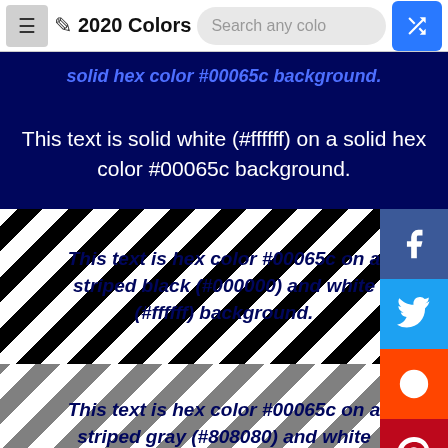2020 Colors
solid hex color #00065c background.
This text is solid white (#ffffff) on a solid hex color #00065c background.
[Figure (illustration): Diagonal black and white stripes with text overlay: This text is hex color #00065c on a striped black (#000000) and white (#ffffff) background.]
[Figure (illustration): Diagonal gray and white stripes with text overlay: This text is hex color #00065c on a striped gray (#808080) and white (#ffffff) background.]